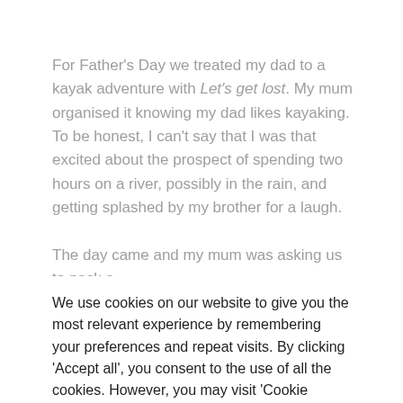For Father's Day we treated my dad to a kayak adventure with Let's get lost. My mum organised it knowing my dad likes kayaking. To be honest, I can't say that I was that excited about the prospect of spending two hours on a river, possibly in the rain, and getting splashed by my brother for a laugh.

The day came and my mum was asking us to pack a
We use cookies on our website to give you the most relevant experience by remembering your preferences and repeat visits. By clicking 'Accept all', you consent to the use of all the cookies. However, you may visit 'Cookie settings' to provide a controlled consent.
Cookie settings
Accept all